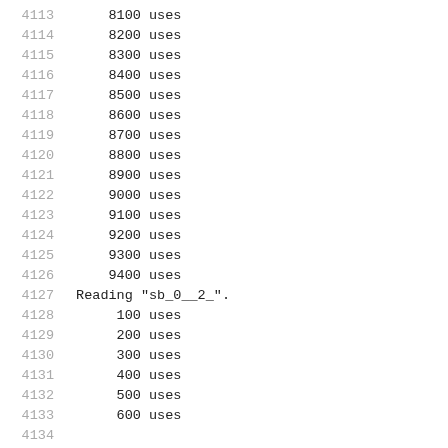4113    8100 uses
4114    8200 uses
4115    8300 uses
4116    8400 uses
4117    8500 uses
4118    8600 uses
4119    8700 uses
4120    8800 uses
4121    8900 uses
4122    9000 uses
4123    9100 uses
4124    9200 uses
4125    9300 uses
4126    9400 uses
4127  Reading "sb_0__2_".
4128     100 uses
4129     200 uses
4130     300 uses
4131     400 uses
4132     500 uses
4133     600 uses
4134     ...